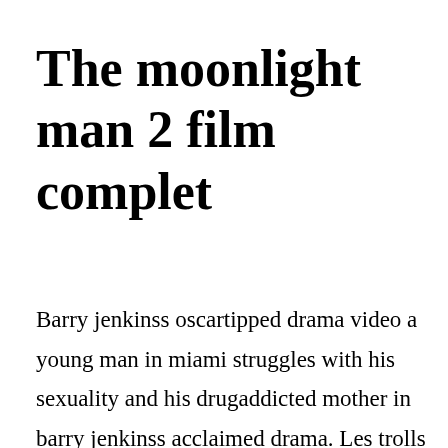The moonlight man 2 film complet
Barry jenkinss oscartipped drama video a young man in miami struggles with his sexuality and his drugaddicted mother in barry jenkinss acclaimed drama. Les trolls 2 streaming complet gratuit cassenoisette et les quatre royaumes film complet streaming tout est possible the biggest little farm film